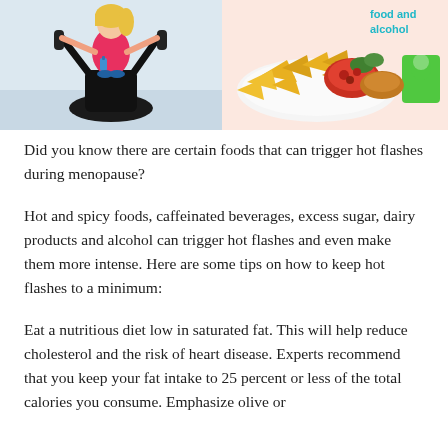[Figure (photo): Left: Woman in pink top exercising on an elliptical machine, holding handlebars with a water bottle. Right: Plate of nachos/chips with salsa and tacos, with teal text 'food and alcohol' and a green logo icon visible.]
Did you know there are certain foods that can trigger hot flashes during menopause?
Hot and spicy foods, caffeinated beverages, excess sugar, dairy products and alcohol can trigger hot flashes and even make them more intense. Here are some tips on how to keep hot flashes to a minimum:
Eat a nutritious diet low in saturated fat. This will help reduce cholesterol and the risk of heart disease. Experts recommend that you keep your fat intake to 25 percent or less of the total calories you consume. Emphasize olive or